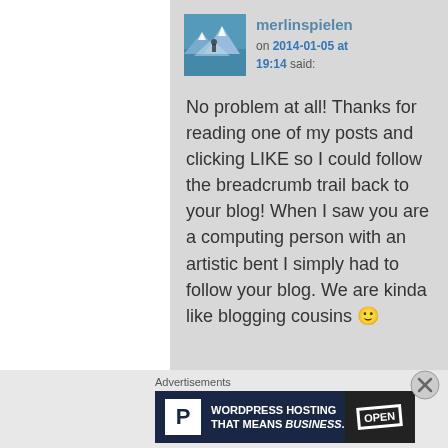merlinspielen on 2014-01-05 at 19:14 said:
No problem at all! Thanks for reading one of my posts and clicking LIKE so I could follow the breadcrumb trail back to your blog! When I saw you are a computing person with an artistic bent I simply had to follow your blog. We are kinda like blogging cousins 🙂
Advertisements
[Figure (screenshot): WordPress Hosting That Means BUSINESS. advertisement banner with P logo and OPEN sign image.]